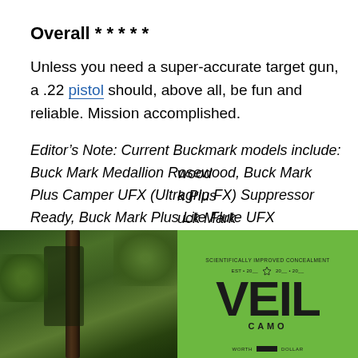Overall * * * * *
Unless you need a super-accurate target gun, a .22 pistol should, above all, be fun and reliable. Mission accomplished.
Editor’s Note: Current Buckmark models include: Buck Mark Medallion Rosewood, Buck Mark Plus Camper UFX (Ultragrip FX) Suppressor Ready, Buck Mark Plus Lite Flute UFX Suppressor Ready, Buck Mark Plus [continues]
[Figure (photo): Left half: outdoor photo of person in camouflage gear climbing or standing by a tree in a forest. Right half: green background with VEIL CAMO logo in large bold black letters with tagline above and 'WORTH EVERY DOLLAR' below.]